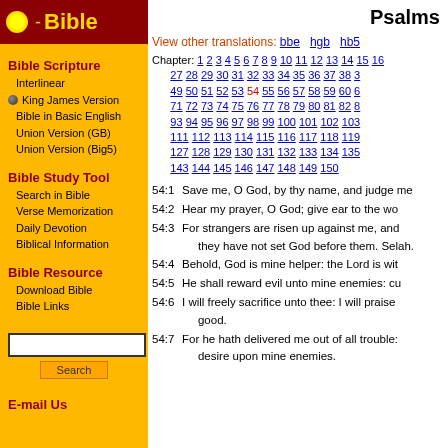Bible - Psalms
Bible Scripture
Interlinear
King James Version
Bible in Basic English
Union Version (GB)
Union Version (Big5)
Bible Study Tool
Search in Bible
Verse Memorization
Daily Devotion
Biblical Information
Bible Resource
Download Bible
Bible Links
E-mail Us
Psalms
View other translations: bbe  hgb  hb5
Chapter: 1 2 3 4 5 6 7 8 9 10 11 12 13 14 15 16 27 28 29 30 31 32 33 34 35 36 37 38 3 49 50 51 52 53 54 55 56 57 58 59 60 6 71 72 73 74 75 76 77 78 79 80 81 82 8 93 94 95 96 97 98 99 100 101 102 103 111 112 113 114 115 116 117 118 119 127 128 129 130 131 132 133 134 135 143 144 145 146 147 148 149 150
54:1 Save me, O God, by thy name, and judge me
54:2 Hear my prayer, O God; give ear to the wo
54:3 For strangers are risen up against me, and they have not set God before them. Selah.
54:4 Behold, God is mine helper: the Lord is wit
54:5 He shall reward evil unto mine enemies: cu
54:6 I will freely sacrifice unto thee: I will praise good.
54:7 For he hath delivered me out of all trouble: desire upon mine enemies.